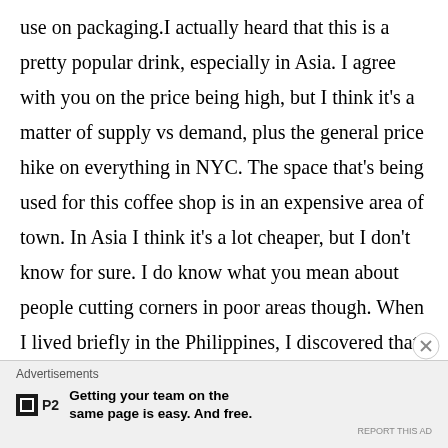use on packaging.I actually heard that this is a pretty popular drink, especially in Asia. I agree with you on the price being high, but I think it's a matter of supply vs demand, plus the general price hike on everything in NYC. The space that's being used for this coffee shop is in an expensive area of town. In Asia I think it's a lot cheaper, but I don't know for sure. I do know what you mean about people cutting corners in poor areas though. When I lived briefly in the Philippines, I discovered that the guy selling propane was mixing in kerosene, because it's cheaper, but it was coating the bottom of our pots
Advertisements
Getting your team on the same page is easy. And free.